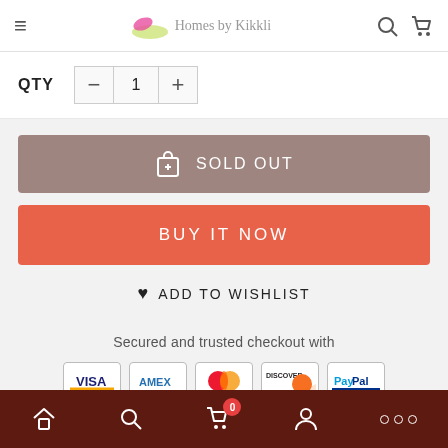Homes by Kikkli
QTY  −  1  +
SOLD OUT
BUY IT NOW
♥ ADD TO WISHLIST
Secured and trusted checkout with
[Figure (infographic): Payment method icons: VISA, AMEX, MasterCard, DISCOVER, PayPal]
Home | Search | Cart (0) | Account | More